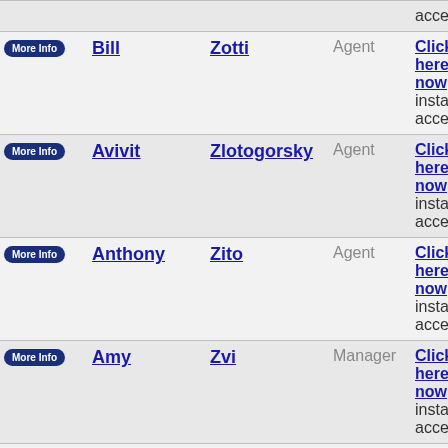|  | First | Last | Role | Action |
| --- | --- | --- | --- | --- |
| More Info | Bill | Zotti | Agent | Click here now for instant access! |
| More Info | Avivit | Zlotogorsky | Agent | Click here now for instant access! |
| More Info | Anthony | Zito | Agent | Click here now for instant access! |
| More Info | Amy | Zvi | Manager | Click here now for instant access! |
| More Info | Albert | Zuckerman | Agent | Click here now for instant access! |
| More Info | Alan | Zucker | Agent | Click here now for instant access! |